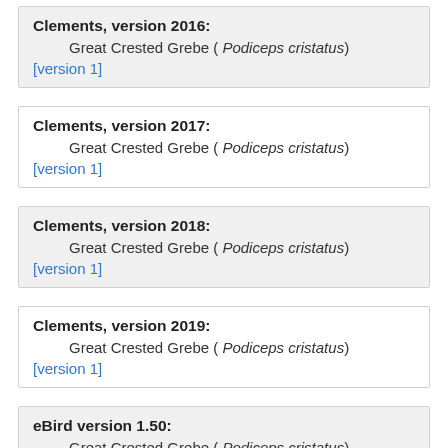Clements, version 2016:
Great Crested Grebe ( Podiceps cristatus)
[version 1]
Clements, version 2017:
Great Crested Grebe ( Podiceps cristatus)
[version 1]
Clements, version 2018:
Great Crested Grebe ( Podiceps cristatus)
[version 1]
Clements, version 2019:
Great Crested Grebe ( Podiceps cristatus)
[version 1]
eBird version 1.50:
Great Crested Grebe ( Podiceps cristatus)